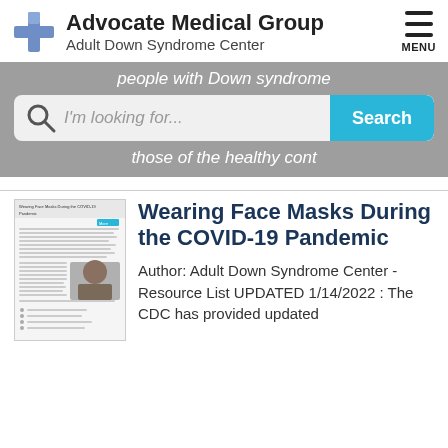Advocate Medical Group Adult Down Syndrome Center
people with Down syndrome
[Figure (screenshot): Search bar with magnifying glass icon, placeholder text 'I'm looking for...' and a cyan Search button]
those of the healthy cont
Wearing Face Masks During the COVID-19 Pandemic
Author: Adult Down Syndrome Center - Resource List UPDATED 1/14/2022 : The CDC has provided updated